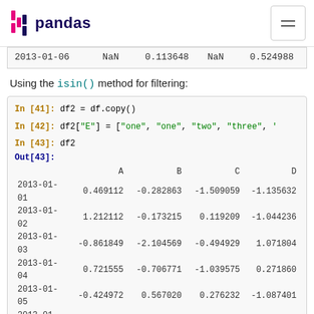pandas
|  | A/NaN | B | C/NaN | D |
| --- | --- | --- | --- | --- |
| 2013-01-06 | NaN | 0.113648 | NaN | 0.524988 |
Using the isin() method for filtering:
[Figure (screenshot): Jupyter notebook code cells showing: In [41]: df2 = df.copy(), In [42]: df2["E"] = ["one", "one", "two", "three", ..., In [43]: df2, Out[43]: DataFrame with columns A B C D and rows 2013-01-01 through 2013-01-06, In [44]: df2[df2["E"].isin(["two", "four"])], Out[44]: DataFrame header row with 2013-01-03 partial row]